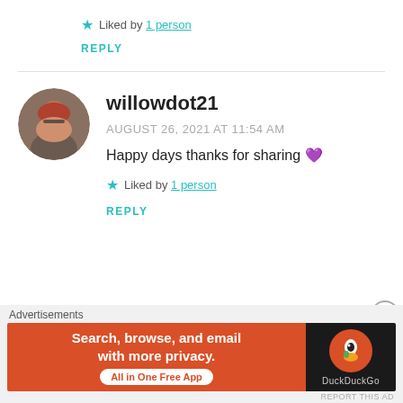★ Liked by 1 person
REPLY
[Figure (photo): Circular avatar photo of a red-haired woman with glasses, smiling]
willowdot21
AUGUST 26, 2021 AT 11:54 AM
Happy days thanks for sharing 💜
★ Liked by 1 person
REPLY
Advertisements
[Figure (screenshot): DuckDuckGo advertisement banner: 'Search, browse, and email with more privacy. All in One Free App' with DuckDuckGo logo on dark background]